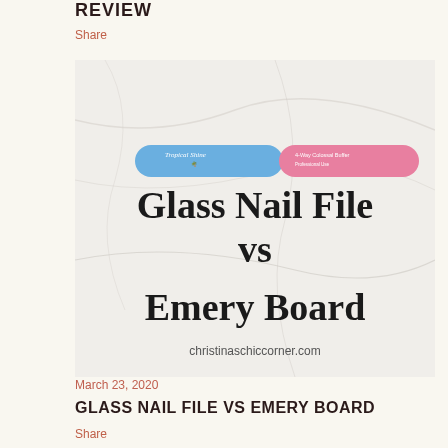REVIEW
Share
[Figure (photo): A nail file split half blue (Tropical Shine) and half pink (4-Way Colossal Buffer), laid on a white marble surface. Large text overlay reads 'Glass Nail File vs Emery Board'. Website watermark: christinaschiccorner.com]
March 23, 2020
GLASS NAIL FILE VS EMERY BOARD
Share